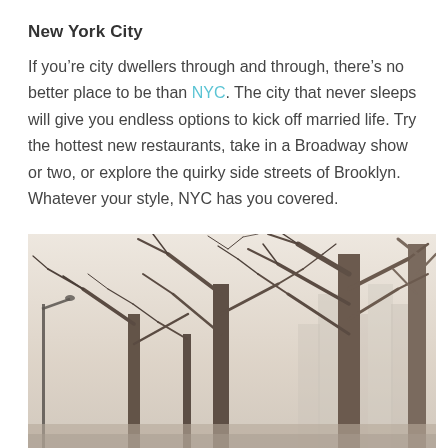New York City
If you're city dwellers through and through, there's no better place to be than NYC. The city that never sleeps will give you endless options to kick off married life. Try the hottest new restaurants, take in a Broadway show or two, or explore the quirky side streets of Brooklyn. Whatever your style, NYC has you covered.
[Figure (photo): Photograph of bare winter trees with branches silhouetted against a pale, hazy sky, with a street lamp visible on the left side. Buildings are faintly visible in the background through the trees.]